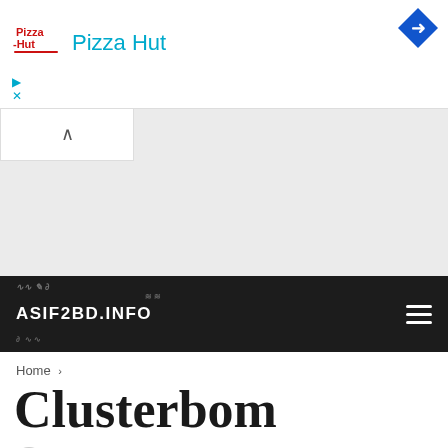[Figure (screenshot): Pizza Hut advertisement banner with logo, brand name in blue, and a blue diamond navigation icon in the top right corner]
ASIF2BD.INFO
Home >
Clusterbom
By Asif2bd — LAST UPDATED
[Figure (photo): Photograph showing blue fabric/seats with beige/tan framing, possibly interior of a vehicle or auditorium]